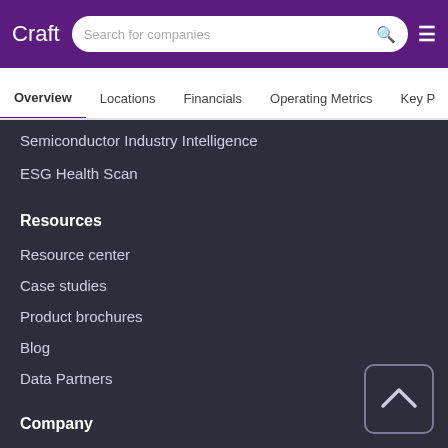Craft — Search for companies
Overview | Locations | Financials | Operating Metrics | Key P
Semiconductor Industry Intelligence
ESG Health Scan
Resources
Resource center
Case studies
Product brochures
Blog
Data Partners
Company